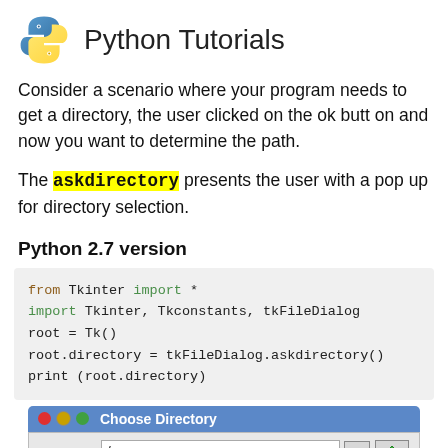Python Tutorials
Consider a scenario where your program needs to get a directory, the user clicked on the ok button and now you want to determine the path.
The askdirectory presents the user with a pop up for directory selection.
Python 2.7 version
[Figure (screenshot): Code block showing Python 2.7 code: from Tkinter import *, import Tkinter, Tkconstants, tkFileDialog, root = Tk(), root.directory = tkFileDialog.askdirectory(), print (root.directory)]
[Figure (screenshot): Choose Directory dialog box showing Directory: / field with navigation buttons]